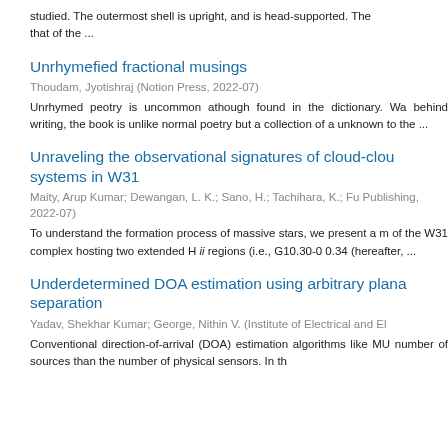studied. The outermost shell is upright, and is head-supported. The that of the ...
Unrhymefied fractional musings
Thoudam, Jyotishraj (Notion Press, 2022-07)
Unrhymed peotry is uncommon athough found in the dictionary. Wa behind writing, the book is unlike normal poetry but a collection of a unknown to the ...
Unraveling the observational signatures of cloud-clou systems in W31
Maity, Arup Kumar; Dewangan, L. K.; Sano, H.; Tachihara, K.; Fu Publishing, 2022-07)
To understand the formation process of massive stars, we present a m of the W31 complex hosting two extended H ii regions (i.e., G10.30-0 0.34 (hereafter, ...
Underdetermined DOA estimation using arbitrary plana separation
Yadav, Shekhar Kumar; George, Nithin V. (Institute of Electrical and El
Conventional direction-of-arrival (DOA) estimation algorithms like MU number of sources than the number of physical sensors. In th